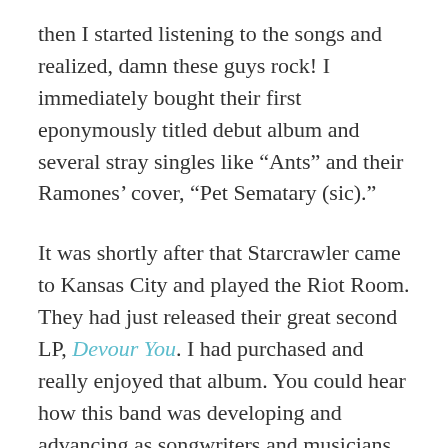then I started listening to the songs and realized, damn these guys rock! I immediately bought their first eponymously titled debut album and several stray singles like “Ants” and their Ramones’ cover, “Pet Sematary (sic).”
It was shortly after that Starcrawler came to Kansas City and played the Riot Room. They had just released their great second LP, Devour You. I had purchased and really enjoyed that album. You could hear how this band was developing and advancing as songwriters and musicians on that record. Needless to say I rocked out that night at the Riot Room... Starcrawler was just killer live! Can’t believe it’s been almost three years... I was in the front row and Arrow not only spat water upon me – pre-Covid I was down for that – she landed on me when she hurled herself